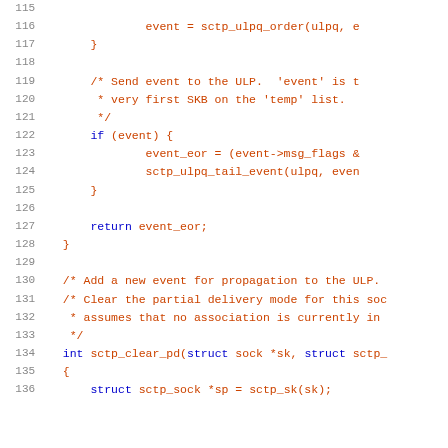Source code listing, lines 115-136, C code for SCTP socket handling
115: (blank)
116:         event = sctp_ulpq_order(ulpq, e
117:     }
118: (blank)
119:     /* Send event to the ULP.  'event' is t
120:      * very first SKB on the 'temp' list.
121:      */
122:     if (event) {
123:         event_eor = (event->msg_flags &
124:         sctp_ulpq_tail_event(ulpq, even
125:     }
126: (blank)
127:     return event_eor;
128: }
129: (blank)
130: /* Add a new event for propagation to the ULP.
131: /* Clear the partial delivery mode for this soc
132:  * assumes that no association is currently in
133:  */
134: int sctp_clear_pd(struct sock *sk, struct sctp_
135: {
136:     struct sctp_sock *sp = sctp_sk(sk);